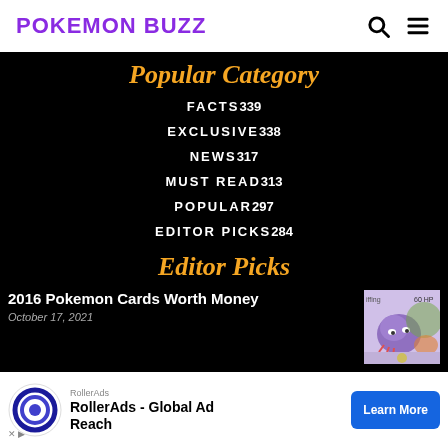POKEMON BUZZ
Popular Category
FACTS 339
EXCLUSIVE 338
NEWS 317
MUST READ 313
POPULAR 297
EDITOR PICKS 284
Editor Picks
2016 Pokemon Cards Worth Money
October 17, 2021
[Figure (photo): Pokemon card image showing a purple blob Pokemon with 60 HP]
Pokemon Xy Evolutions Card Prices
[Figure (photo): Partial Pokemon card image visible at bottom right]
[Figure (infographic): RollerAds advertisement banner - RollerAds - Global Ad Reach with Learn More button]